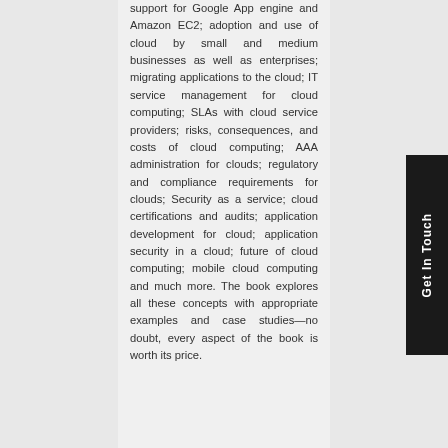support for Google App engine and Amazon EC2; adoption and use of cloud by small and medium businesses as well as enterprises; migrating applications to the cloud; IT service management for cloud computing; SLAs with cloud service providers; risks, consequences, and costs of cloud computing; AAA administration for clouds; regulatory and compliance requirements for clouds; Security as a service; cloud certifications and audits; application development for cloud; application security in a cloud; future of cloud computing; mobile cloud computing and much more. The book explores all these concepts with appropriate examples and case studies—no doubt, every aspect of the book is worth its price.